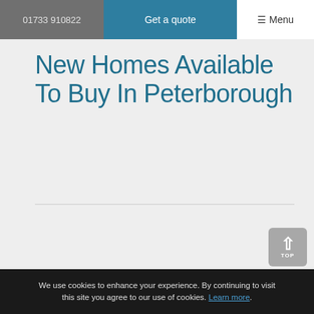01733 910822   Get a quote   ☰ Menu
New Homes Available To Buy In Peterborough
We use cookies to enhance your experience. By continuing to visit this site you agree to our use of cookies. Learn more.